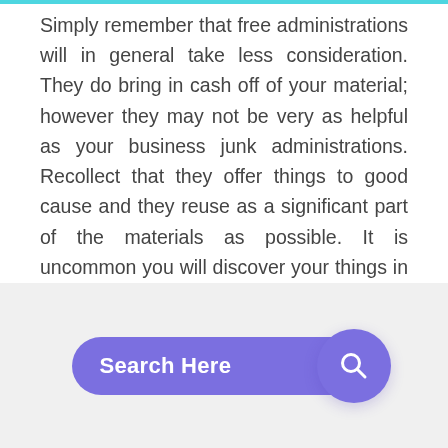Simply remember that free administrations will in general take less consideration. They do bring in cash off of your material; however they may not be very as helpful as your business junk administrations. Recollect that they offer things to good cause and they reuse as a significant part of the materials as possible. It is uncommon you will discover your things in a landfill.
[Figure (illustration): Red price tag / label icon]
[Figure (illustration): Purple rounded search bar with 'Search Here' text and a purple circular search button with magnifying glass icon]